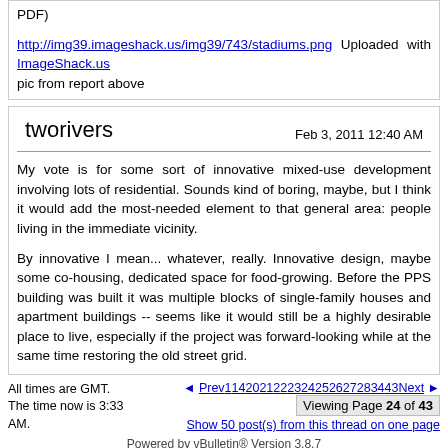PDF)

http://img39.imageshack.us/img39/743/stadiums.png Uploaded with ImageShack.us
pic from report above
tworivers
Feb 3, 2011 12:40 AM
My vote is for some sort of innovative mixed-use development involving lots of residential. Sounds kind of boring, maybe, but I think it would add the most-needed element to that general area: people living in the immediate vicinity.

By innovative I mean... whatever, really. Innovative design, maybe some co-housing, dedicated space for food-growing. Before the PPS building was built it was multiple blocks of single-family houses and apartment buildings -- seems like it would still be a highly desirable place to live, especially if the project was forward-looking while at the same time restoring the old street grid.
All times are GMT. The time now is 3:33 AM.
Prev 1 14 20 21 22 23 24 25 26 27 28 34 43 Next
Viewing Page 24 of 43
Show 50 post(s) from this thread on one page
Powered by vBulletin® Version 3.8.7
Copyright ©2000 - 2022, vBulletin Solutions, Inc.